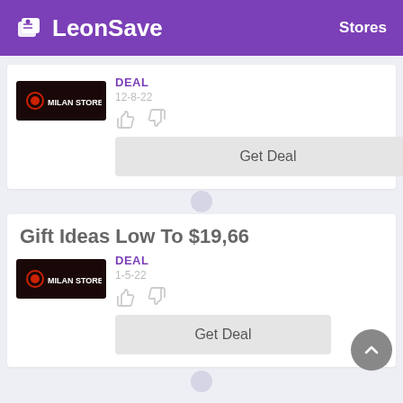LeonSave  Stores
DEAL
12-8-22
Get Deal
Gift Ideas Low To $19,66
DEAL
1-5-22
Get Deal